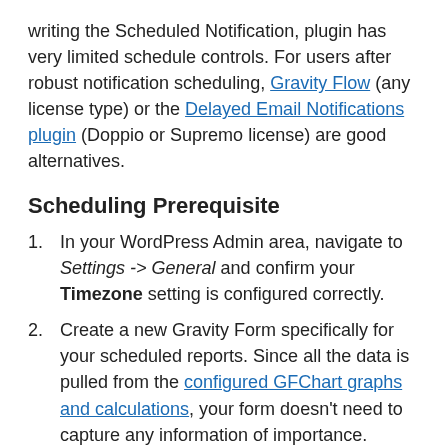writing the Scheduled Notification, plugin has very limited schedule controls. For users after robust notification scheduling, Gravity Flow (any license type) or the Delayed Email Notifications plugin (Doppio or Supremo license) are good alternatives.
Scheduling Prerequisite
In your WordPress Admin area, navigate to Settings -> General and confirm your Timezone setting is configured correctly.
Create a new Gravity Form specifically for your scheduled reports. Since all the data is pulled from the configured GFChart graphs and calculations, your form doesn't need to capture any information of importance. However, Gravity Forms won't allow you to submit a new